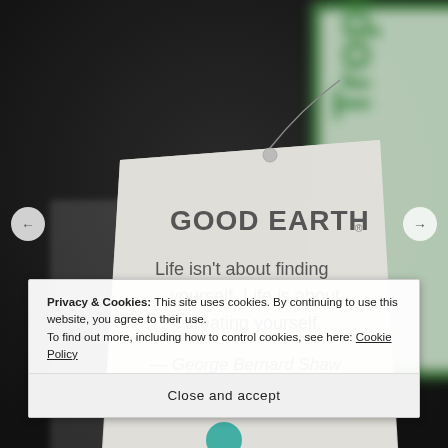[Figure (photo): Close-up photograph of a Good Earth tea tag with a quote by George Bernard Shaw: 'Life isn't about finding yourself. Life is about creating yourself.' The background shows a green and white Good Earth Tropical tea box, blurred.]
Privacy & Cookies: This site uses cookies. By continuing to use this website, you agree to their use.
To find out more, including how to control cookies, see here: Cookie Policy
Close and accept